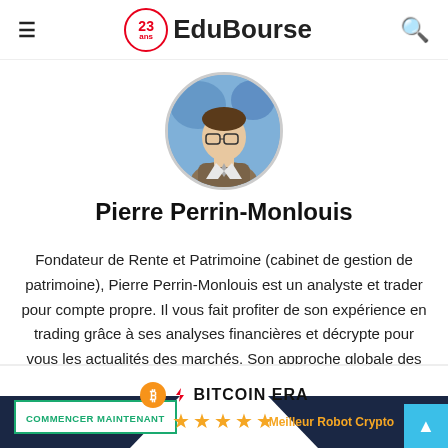EduBourse
[Figure (photo): Circular profile photo of Pierre Perrin-Monlouis, a man wearing glasses and a suit, against a blue background]
Pierre Perrin-Monlouis
Fondateur de Rente et Patrimoine (cabinet de gestion de patrimoine), Pierre Perrin-Monlouis est un analyste et trader pour compte propre. Il vous fait profiter de son expérience en trading grâce à ses analyses financières et décrypte pour vous les actualités des marchés. Son approche globale des marchés combine à la fois l'analyse technique et l'analyse fondamentale sur l'ensemble des marchés : crypto, forex, actions et matières
[Figure (logo): Bitcoin Era advertisement banner with logo, five stars rating, and text Meilleur Robot Crypto]
COMMENCER MAINTENANT | BITCOIN ERA | Meilleur Robot Crypto